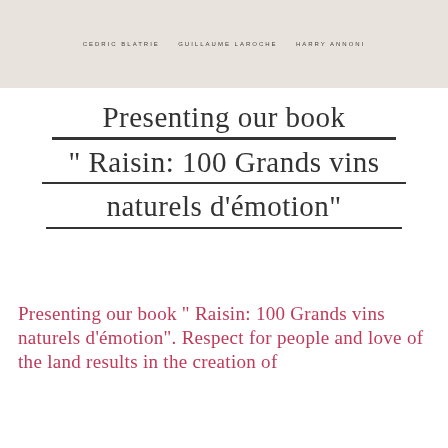CEDRIC BLATRIE   GUILLAUME LAROCHE   HARRY ANNONI
Presenting our book " Raisin: 100 Grands vins naturels d'émotion"
Presenting our book " Raisin: 100 Grands vins naturels d'émotion". Respect for people and love of the land results in the creation of